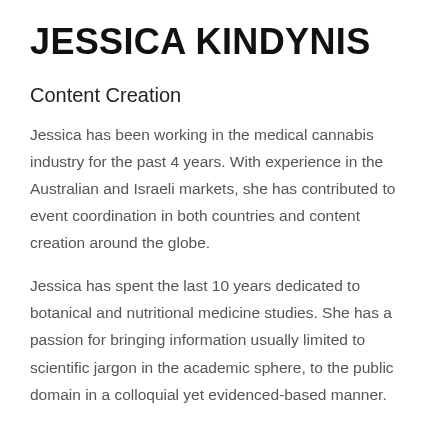JESSICA KINDYNIS
Content Creation
Jessica has been working in the medical cannabis industry for the past 4 years. With experience in the Australian and Israeli markets, she has contributed to event coordination in both countries and content creation around the globe.
Jessica has spent the last 10 years dedicated to botanical and nutritional medicine studies. She has a passion for bringing information usually limited to scientific jargon in the academic sphere, to the public domain in a colloquial yet evidenced-based manner.